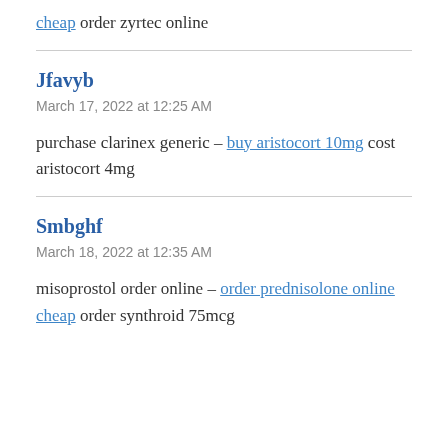cheap order zyrtec online
Jfavyb
March 17, 2022 at 12:25 AM
purchase clarinex generic – buy aristocort 10mg cost aristocort 4mg
Smbghf
March 18, 2022 at 12:35 AM
misoprostol order online – order prednisolone online cheap order synthroid 75mcg